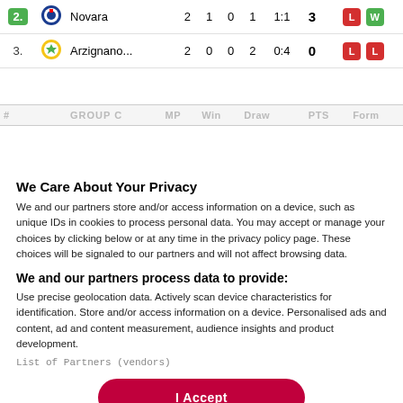| # | Team | MP | W | D | L | Score | Pts | Form |
| --- | --- | --- | --- | --- | --- | --- | --- | --- |
| 2. | Novara | 2 | 1 | 0 | 1 | 1:1 | 3 | L W |
| 3. | Arzignano... | 2 | 0 | 0 | 2 | 0:4 | 0 | L L |
We Care About Your Privacy
We and our partners store and/or access information on a device, such as unique IDs in cookies to process personal data. You may accept or manage your choices by clicking below or at any time in the privacy policy page. These choices will be signaled to our partners and will not affect browsing data.
We and our partners process data to provide:
Use precise geolocation data. Actively scan device characteristics for identification. Store and/or access information on a device. Personalised ads and content, ad and content measurement, audience insights and product development.
List of Partners (vendors)
I Accept
Reject All
Show Purposes